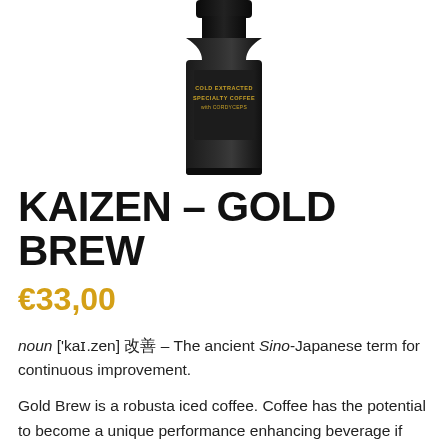[Figure (photo): Dark/black bottle product photo — Cold Extracted Specialty Coffee with Cordyceps, partially cropped at top]
KAIZEN – GOLD BREW
€33,00
noun ['kaɪ.zen] 改善 – The ancient Sino-Japanese term for continuous improvement.
Gold Brew is a robusta iced coffee. Coffee has the potential to become a unique performance enhancing beverage if produced with a KAIZEN mindset. Due to the unique cold extraction process we have created a coffee experience